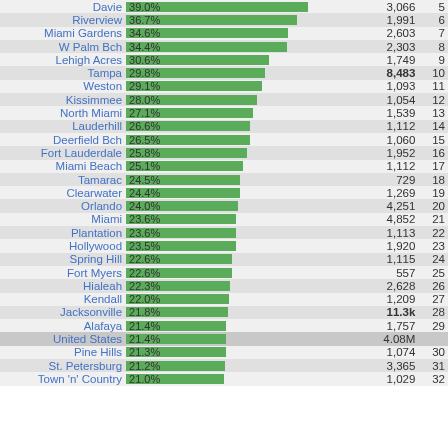[Figure (bar-chart): Florida cities ranked by percentage - horizontal bar chart]